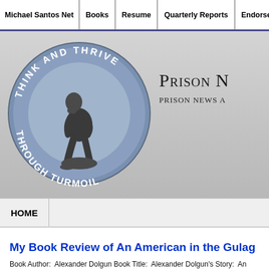Michael Santos Net | Books | Resume | Quarterly Reports | Endorsements | Media | Va...
[Figure (logo): Round logo with 'Think and Thrive Through Turmoil' text around a statue of The Thinker on a steel-blue background]
Prison N...
Prison News A...
HOME
My Book Review of An American in the Gulag
Book Author: Alexander Dolgun Book Title: Alexander Dolgun's Story: An America... 2009 Book Publisher: Valentine Books (1974) Nonfiction/ 503 pages American Gu... Reason I read An American in the Gulag: I have been a fan of Russian literature fo...